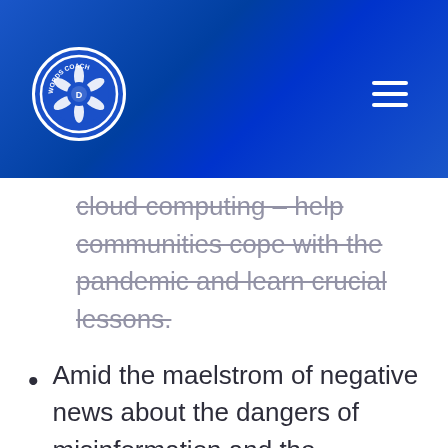[Figure (logo): Words Coach circular logo with camera aperture icon on blue background]
cloud computing – help communities cope with the pandemic and learn crucial lessons.
Amid the maelstrom of negative news about the dangers of misinformation and the exploitation of private data, it's easy to lose sight of how technology can help the greater cause.